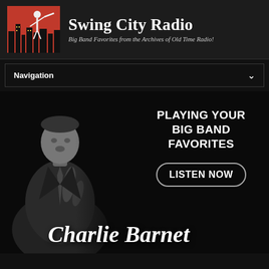[Figure (logo): Swing City Radio logo: red box with illustrated jazz musician silhouette against city skyline]
Swing City Radio
Big Band Favorites from the Archives of Old Time Radio!
Navigation
[Figure (photo): Black and white vintage photo of Charlie Barnet playing saxophone, wearing a suit and tie]
PLAYING YOUR BIG BAND FAVORITES
LISTEN NOW
Charlie Barnet